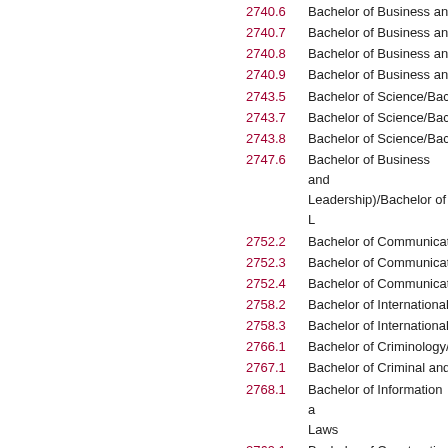2740.6  Bachelor of Business and...
2740.7  Bachelor of Business and...
2740.8  Bachelor of Business and...
2740.9  Bachelor of Business and...
2743.5  Bachelor of Science/Bach...
2743.7  Bachelor of Science/Bach...
2743.8  Bachelor of Science/Bach...
2747.6  Bachelor of Business and... Leadership)/Bachelor of L...
2752.2  Bachelor of Communicati...
2752.3  Bachelor of Communicati...
2752.4  Bachelor of Communicati...
2758.2  Bachelor of International...
2758.3  Bachelor of International...
2766.1  Bachelor of Criminology/B...
2767.1  Bachelor of Criminal and...
2768.1  Bachelor of Information a... Laws
2769.1  Bachelor of Construction...
Specialisations
KP2000.1  Accounting
KP2001.1  Applied Finance